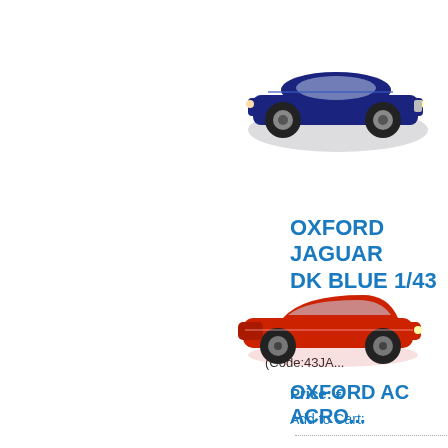[Figure (photo): Dark blue Oxford Jaguar model car, top-right area, partially cut off]
OXFORD JAGUAR DK BLUE 1/43
In stock (Code:43JA...)
Price: €
Add to Cart:
[Figure (photo): Red Oxford AC Acro model car, partially cut off at right edge]
OXFORD AC ACRO...